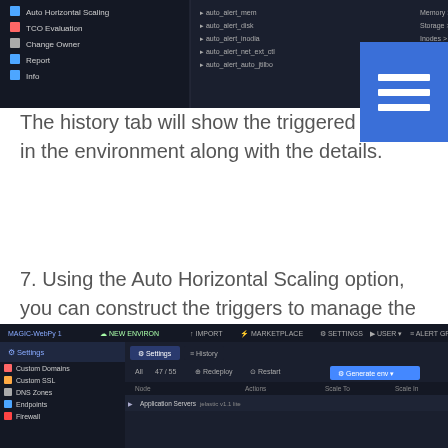[Figure (screenshot): Dark-themed interface screenshot showing a list with items including Auto Horizontal Scaling, TCO evaluation, Change Owner, Report, Info, and several auto_alert items with conditions like Memory > 80%, Storage > 95%, Inodes > 90%, Network [net ctl] > 80%, 0.34 GB]
The history tab will show the triggered alerts in the environment along with the details.
7. Using the Auto Horizontal Scaling option, you can construct the triggers to manage the number of containers within a layer. Scaling conditioning can be defined depending on the CPU, memory, network, disk I/O, and Disk IOPS utilisation.
[Figure (screenshot): Dark-themed platform interface screenshot showing Settings panel with options including Custom Domains, Custom SSL, DNS Zones, Endpoints, Firewall, and an Application Servers section with columns for Actions, Status, Scale To, Scale In]